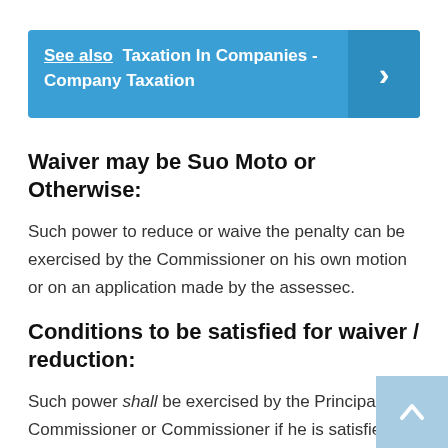See also  Taxation In Companies - Company Taxation
Waiver may be Suo Moto or Otherwise:
Such power to reduce or waive the penalty can be exercised by the Commissioner on his own motion or on an application made by the assessec.
Conditions to be satisfied for waiver / reduction:
Such power shall be exercised by the Principal Commissioner or Commissioner if he is satisfied that the assessee has: